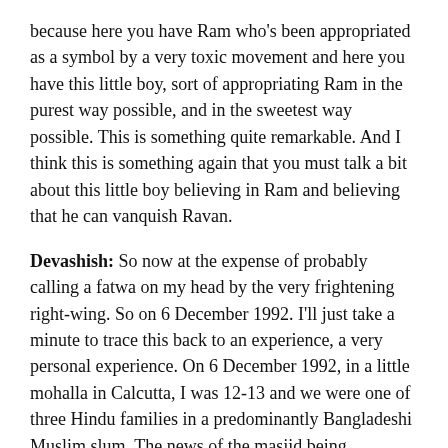because here you have Ram who's been appropriated as a symbol by a very toxic movement and here you have this little boy, sort of appropriating Ram in the purest way possible, and in the sweetest way possible. This is something quite remarkable. And I think this is something again that you must talk a bit about this little boy believing in Ram and believing that he can vanquish Ravan.
Devashish: So now at the expense of probably calling a fatwa on my head by the very frightening right-wing. So on 6 December 1992. I'll just take a minute to trace this back to an experience, a very personal experience. On 6 December 1992, in a little mohalla in Calcutta, I was 12-13 and we were one of three Hindu families in a predominantly Bangladeshi Muslim slum. The news of the masjid being demolished reaches this mohalla and we were attacked that night. My mother was almost raped. And that never left me. I didn't feel anger for whoever was attacking us as more as much as I felt confusion. I didn't know why that